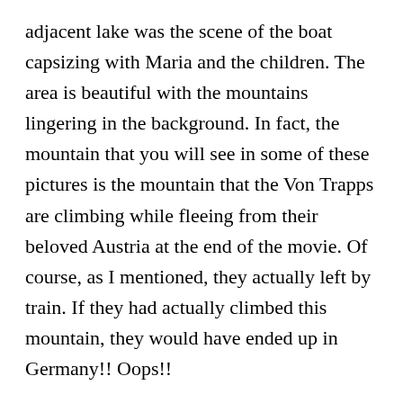adjacent lake was the scene of the boat capsizing with Maria and the children. The area is beautiful with the mountains lingering in the background. In fact, the mountain that you will see in some of these pictures is the mountain that the Von Trapps are climbing while fleeing from their beloved Austria at the end of the movie. Of course, as I mentioned, they actually left by train. If they had actually climbed this mountain, they would have ended up in Germany!! Oops!!
We then drove by the Frohnburg Palace and Hellbrunn Alley, which was the set for all the house scenes from the front. These included Maria arriving at the Von Trapp household with her suitcase and guitar, Captain Von Trapp tearing down the Nazi flag and the family